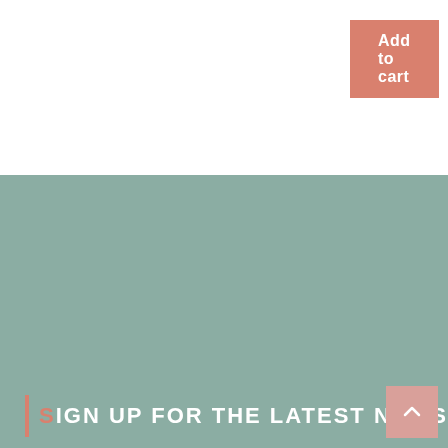Add to cart
SIGN UP FOR THE LATEST NEWS
Email address:
Your email address
Sign up